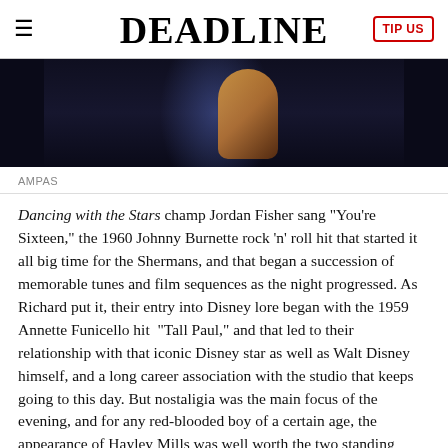DEADLINE
[Figure (photo): Partial view of a performer on stage, dark background, colorful patterned top visible]
AMPAS
Dancing with the Stars champ Jordan Fisher sang “You’re Sixteen,” the 1960 Johnny Burnette rock ‘n’ roll hit that started it all big time for the Shermans, and that began a succession of memorable tunes and film sequences as the night progressed. As Richard put it, their entry into Disney lore began with the 1959 Annette Funicello hit “Tall Paul,” and that led to their relationship with that iconic Disney star as well as Walt Disney himself, and a long career association with the studio that keeps going to this day. But nostaligia was the main focus of the evening, and for any red-blooded boy of a certain age, the appearance of Hayley Mills was well worth the two standing ovations she got as she charmingly told how the Shermans turned her (“I can’t sing”) into a singer